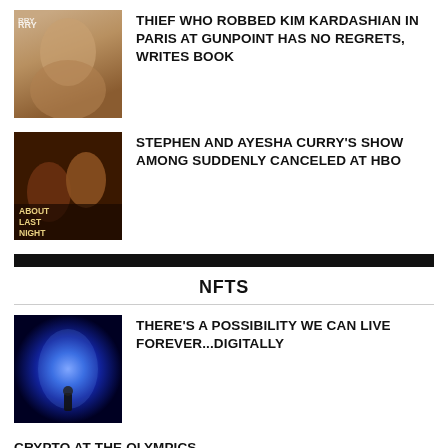[Figure (photo): Portrait photo of Kim Kardashian]
THIEF WHO ROBBED KIM KARDASHIAN IN PARIS AT GUNPOINT HAS NO REGRETS, WRITES BOOK
[Figure (photo): About Last Night show poster with Stephen and Ayesha Curry]
STEPHEN AND AYESHA CURRY'S SHOW AMONG SUDDENLY CANCELED AT HBO
NFTS
[Figure (photo): Silhouette of person in bright blue digital light tunnel]
THERE'S A POSSIBILITY WE CAN LIVE FOREVER...DIGITALLY
CRYPTO AT THE OLYMPICS